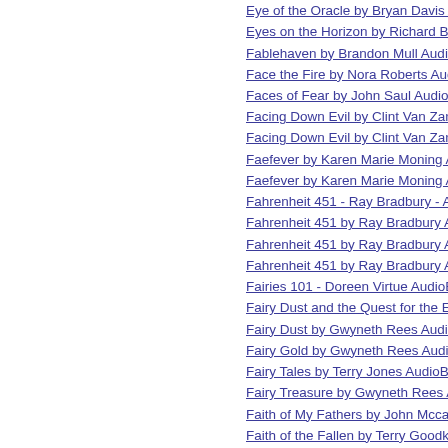Eye of the Oracle by Bryan Davis Audio Bo...
Eyes on the Horizon by Richard B. Myers A...
Fablehaven by Brandon Mull Audio Book C...
Face the Fire by Nora Roberts Audio Book...
Faces of Fear by John Saul AudioBook CD...
Facing Down Evil by Clint Van Zandt Audi...
Facing Down Evil by Clint Van Zandt Audi...
Faefever by Karen Marie Moning Audio Bo...
Faefever by Karen Marie Moning AudioBo...
Fahrenheit 451 - Ray Bradbury - AudioBo...
Fahrenheit 451 by Ray Bradbury Audio Bo...
Fahrenheit 451 by Ray Bradbury Audio Bo...
Fahrenheit 451 by Ray Bradbury AudioBo...
Fairies 101 - Doreen Virtue AudioBook CD...
Fairy Dust and the Quest for the Egg by G...
Fairy Dust by Gwyneth Rees Audio Book C...
Fairy Gold by Gwyneth Rees AudioBook C...
Fairy Tales by Terry Jones AudioBook CD...
Fairy Treasure by Gwyneth Rees AudioBo...
Faith of My Fathers by John Mccain Audio...
Faith of the Fallen by Terry Goodkind Aud...